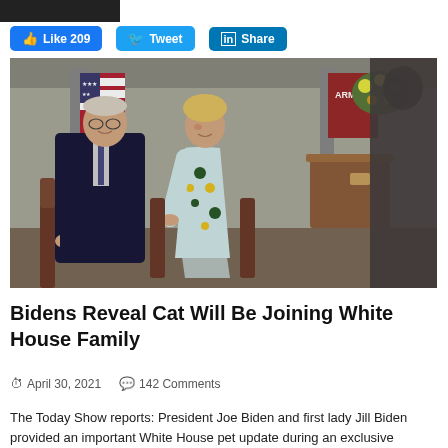[Figure (photo): Dark header bar at top of page]
[Figure (infographic): Social media buttons: Facebook Like 209, Twitter Tweet, LinkedIn Share]
[Figure (photo): Photo of President Joe Biden and first lady Jill Biden seated in an interview setting, with American flag and Army flag in background, flowers on table, and a blurred figure in foreground on right.]
Bidens Reveal Cat Will Be Joining White House Family
April 30, 2021   142 Comments
The Today Show reports: President Joe Biden and first lady Jill Biden provided an important White House pet update during an exclusive